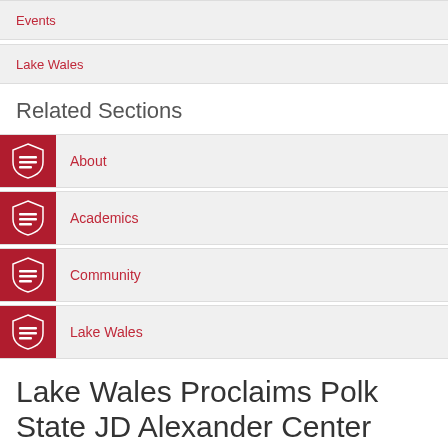Events
Lake Wales
Related Sections
About
Academics
Community
Lake Wales
Lake Wales Proclaims Polk State JD Alexander Center Recognition Day